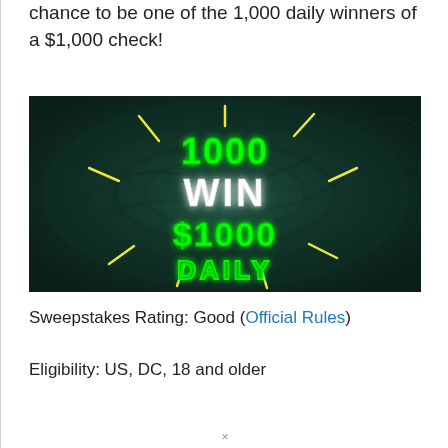chance to be one of the 1,000 daily winners of a $1,000 check!
[Figure (illustration): Dark green promotional banner with neon text reading '1000 WIN $1000 DAILY' with bright green and white glowing neon letters, yellow accent lines radiating outward, set against a dark swirling dollar-bill-textured background.]
Sweepstakes Rating: Good (Official Rules)
Eligibility: US, DC, 18 and older